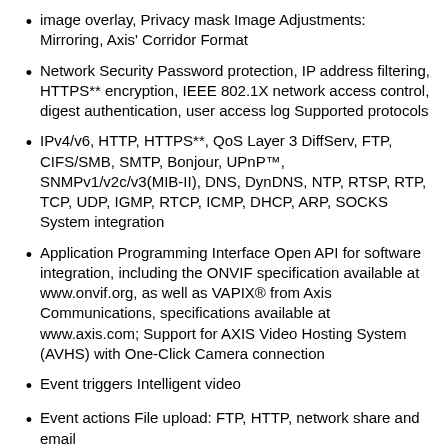image overlay, Privacy mask Image Adjustments: Mirroring, Axis' Corridor Format
Network Security Password protection, IP address filtering, HTTPS** encryption, IEEE 802.1X network access control, digest authentication, user access log Supported protocols
IPv4/v6, HTTP, HTTPS**, QoS Layer 3 DiffServ, FTP, CIFS/SMB, SMTP, Bonjour, UPnP™, SNMPv1/v2c/v3(MIB-II), DNS, DynDNS, NTP, RTSP, RTP, TCP, UDP, IGMP, RTCP, ICMP, DHCP, ARP, SOCKS System integration
Application Programming Interface Open API for software integration, including the ONVIF specification available at www.onvif.org, as well as VAPIX® from Axis Communications, specifications available at www.axis.com; Support for AXIS Video Hosting System (AVHS) with One-Click Camera connection
Event triggers Intelligent video
Event actions File upload: FTP, HTTP, network share and email
Notification: email, HTTP and TCP